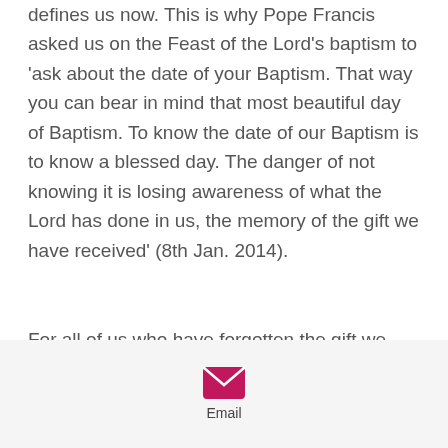defines us now. This is why Pope Francis asked us on the Feast of the Lord's baptism to 'ask about the date of your Baptism. That way you can bear in mind that most beautiful day of Baptism. To know the date of our Baptism is to know a blessed day. The danger of not knowing it is losing awareness of what the Lord has done in us, the memory of the gift we have received' (8th Jan. 2014).
For all of us who have forgotten the gift we have received at baptism and find that our lives lack meaning, it is time to re-discover the clarity and meaning of who we became on the day we were baptised. On the day we were baptised, we were
[Figure (other): Email icon — pink/magenta envelope icon with the label 'Email' below it, on a light grey background bar at the bottom of the page.]